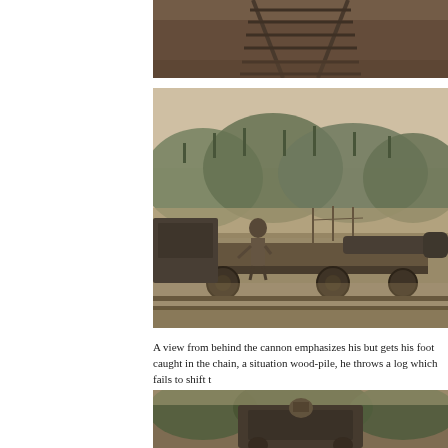[Figure (photo): Sepia-toned historical photograph showing railway tracks from above, top portion cropped]
[Figure (photo): Sepia-toned historical photograph of a man standing on a flatcar with a cannon, moving train, forest hillside in background]
A view from behind the cannon emphasizes his but gets his foot caught in the chain, a situation wood-pile, he throws a log which fails to shift t
[Figure (photo): Sepia-toned historical photograph showing rear view of a train car with figure visible, surrounded by trees]